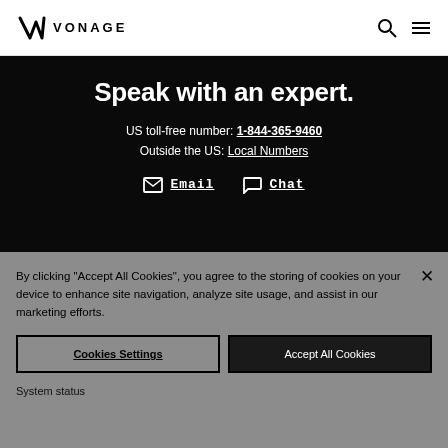[Figure (logo): Vonage logo with V checkmark and VONAGE wordmark]
Speak with an expert.
US toll-free number: 1-844-365-9460
Outside the US: Local Numbers
Email   Chat
By clicking "Accept All Cookies", you agree to the storing of cookies on your device to enhance site navigation, analyze site usage, and assist in our marketing efforts.
Cookies Settings   Accept All Cookies
System status